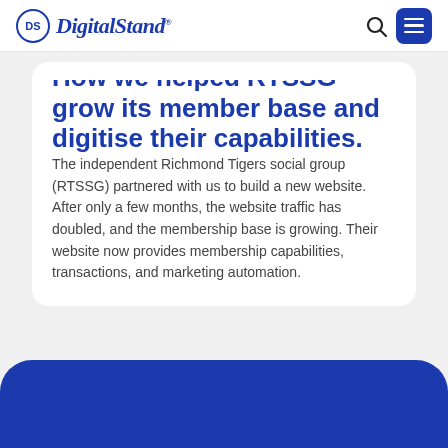DigitalStand
How we helped RTSSG grow its member base and digitise their capabilities.
The independent Richmond Tigers social group (RTSSG) partnered with us to build a new website. After only a few months, the website traffic has doubled, and the membership base is growing. Their website now provides membership capabilities, transactions, and marketing automation.